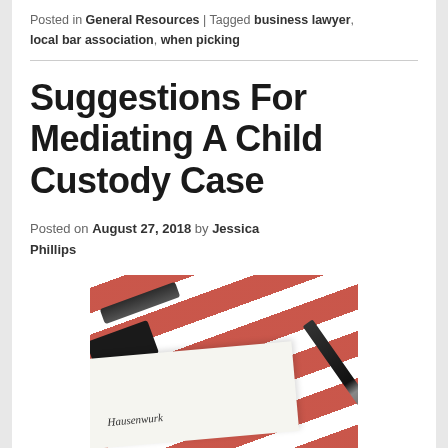Posted in General Resources | Tagged business lawyer, local bar association, when picking
Suggestions For Mediating A Child Custody Case
Posted on August 27, 2018 by Jessica Phillips
[Figure (photo): Photo of a document/paper with handwritten text and a pen, placed on a red and white striped background]